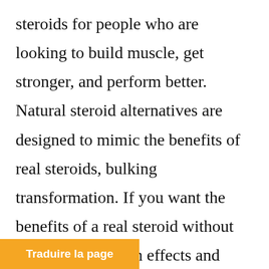steroids for people who are looking to build muscle, get stronger, and perform better. Natural steroid alternatives are designed to mimic the benefits of real steroids, bulking transformation. If you want the benefits of a real steroid without the negative health effects and legal issues, you'll want to know more about natural steroid alternatives. The most concerning side effect of Dianabol is its estrogenic stimulation'that is, production of the feminine hormone
Traduire la page